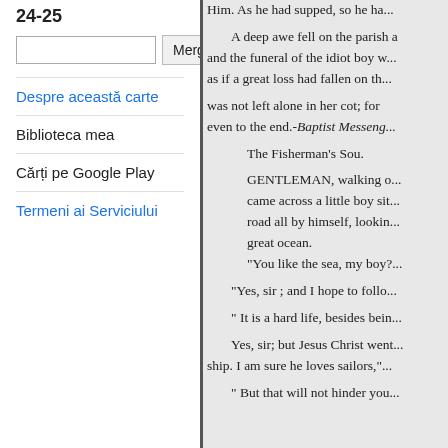24-25
Mergeți
Despre această carte
Biblioteca mea
Cărți pe Google Play
Termeni ai Serviciului
Him. As he had supped, so he ha...
A deep awe fell on the parish and the funeral of the idiot boy w... as if a great loss had fallen on th...
was not left alone in her cot; for even to the end.-Baptist Messeng...
The Fisherman's Sou.
GENTLEMAN, walking o... came across a little boy sit... road all by himself, lookin... great ocean.
"You like the sea, my boy?...
"Yes, sir ; and I hope to follo...
" It is a hard life, besides bein...
Yes, sir; but Jesus Christ went... ship. I am sure he loves sailors,"...
" But that will not hinder you...